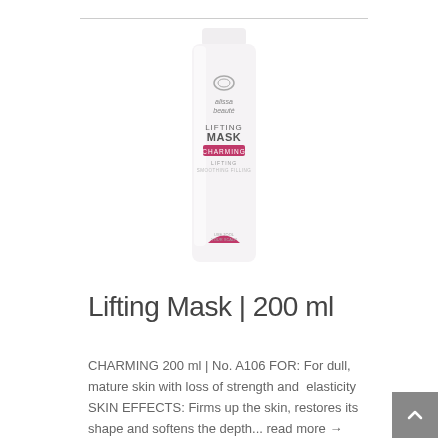[Figure (photo): Alissa Beauté Lifting Mask product bottle, 200ml, white tall cylindrical container with pink accent and charming label]
Lifting Mask | 200 ml
CHARMING 200 ml | No. A106 FOR: For dull, mature skin with loss of strength and elasticity SKIN EFFECTS: Firms up the skin, restores its shape and softens the depth... read more →